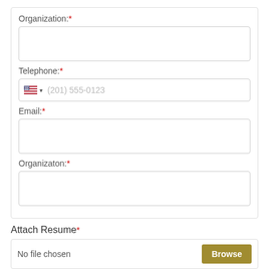Organization:*
Telephone:*
(201) 555-0123
Email:*
Organizaton:*
Attach Resume*
No file chosen
Browse